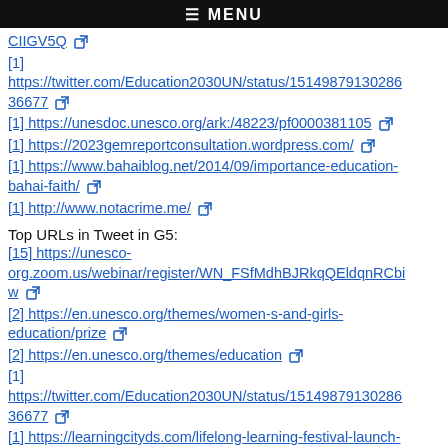≡ MENU
[1] https://twitter.com/Education2030UN/status/15149879130286 36677
[1] https://unesdoc.unesco.org/ark:/48223/pf0000381105
[1] https://2023gemreportconsultation.wordpress.com/
[1] https://www.bahaiblog.net/2014/09/importance-education-bahai-faith/
[1] http://www.notacrime.me/
Top URLs in Tweet in G5:
[15] https://unesco-org.zoom.us/webinar/register/WN_FSfMdhBJRkqQEldqnRCbiw
[2] https://en.unesco.org/themes/women-s-and-girls-education/prize
[2] https://en.unesco.org/themes/education
[1] https://twitter.com/Education2030UN/status/15149879130286 36677
[1] https://learningcityds.com/lifelong-learning-festival-launch-event/
[1] https://www.uil.unesco.org/en/seventh-international-conference-adult-education/mfa
[1] https://en.unesco.org/news/what-you-need-know-about-